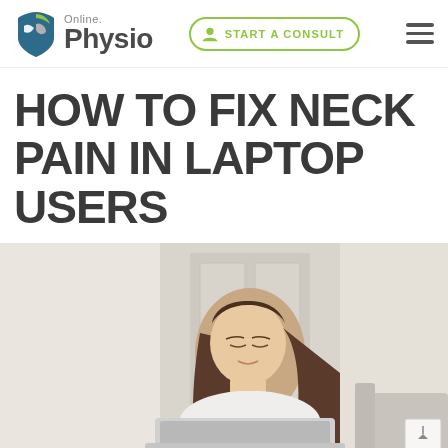[Figure (logo): Online Physio logo with shield icon, 'Online' in grey above 'Physio' in dark grey bold]
[Figure (other): START A CONSULT button with user icon, green oval border]
HOW TO FIX NECK PAIN IN LAPTOP USERS
[Figure (photo): Woman leaning back with neck pain, using a laptop, sitting in a light-coloured room]